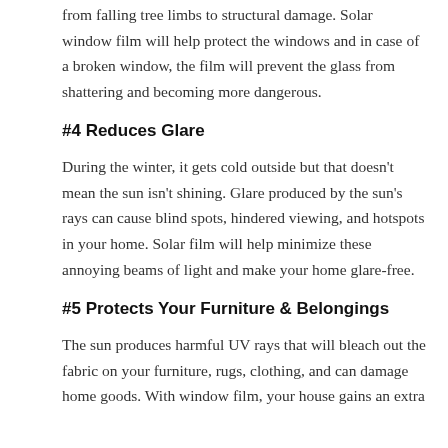from falling tree limbs to structural damage. Solar window film will help protect the windows and in case of a broken window, the film will prevent the glass from shattering and becoming more dangerous.
#4 Reduces Glare
During the winter, it gets cold outside but that doesn't mean the sun isn't shining. Glare produced by the sun's rays can cause blind spots, hindered viewing, and hotspots in your home. Solar film will help minimize these annoying beams of light and make your home glare-free.
#5 Protects Your Furniture & Belongings
The sun produces harmful UV rays that will bleach out the fabric on your furniture, rugs, clothing, and can damage home goods. With window film, your house gains an extra